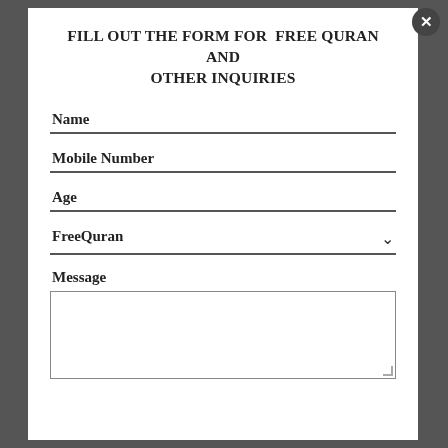FILL OUT THE FORM FOR FREE QURAN AND OTHER INQUIRIES
Name
Mobile Number
Age
FreeQuran
Message